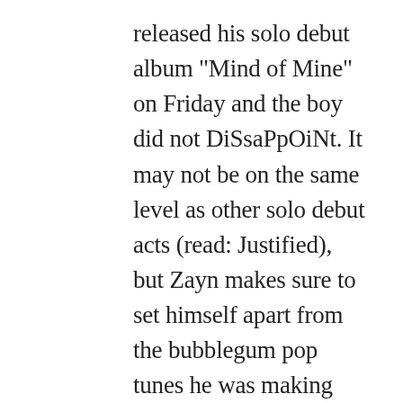released his solo debut album "Mind of Mine" on Friday and the boy did not DiSsaPpOiNt. It may not be on the same level as other solo debut acts (read: Justified), but Zayn makes sure to set himself apart from the bubblegum pop tunes he was making with One Direction. The album gives off major vibes of The Weeknd and Frank Ocean, which makes sense considering Malay (Frank Ocean's producer) is all over the producer credits. It's very obvious Zayn is intentionally pushing the boundaries he couldn't with One Direction. He really wants us to know he's fucking and out being a cool badass. But for someone